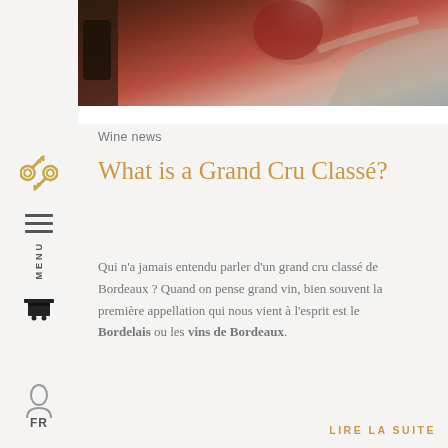[Figure (photo): Close-up photo of a person pouring red wine into a glass, warm tones]
Wine news
What is a Grand Cru Classé?
Qui n'a jamais entendu parler d'un grand cru classé de Bordeaux? Quand on pense grand vin, bien souvent la première appellation qui nous vient à l'esprit est le Bordelais ou les vins de Bordeaux.
LIRE LA SUITE